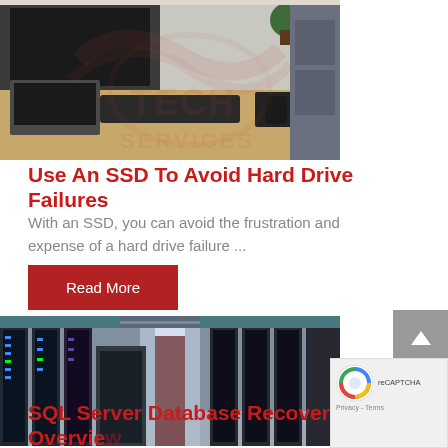[Figure (photo): Photo of a desk with laptop, keyboard and monitor in a modern office setting, with RP Tech Services watermark logo overlaid]
Use An SSD To Avoid Hard Drive Failures
With an SSD, you can avoid the frustration and expense of a hard drive failure ...
Read More
[Figure (photo): Photo of a large data center server room with rows of server racks and bright overhead lighting]
SQL Server Database Recovery Overview